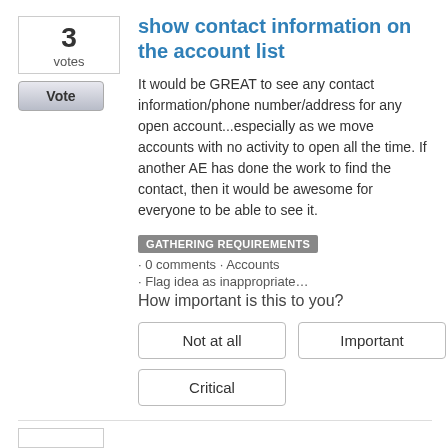3
votes
Vote
show contact information on the account list
It would be GREAT to see any contact information/phone number/address for any open account...especially as we move accounts with no activity to open all the time. If another AE has done the work to find the contact, then it would be awesome for everyone to be able to see it.
GATHERING REQUIREMENTS · 0 comments · Accounts · Flag idea as inappropriate…
How important is this to you?
Not at all
Important
Critical